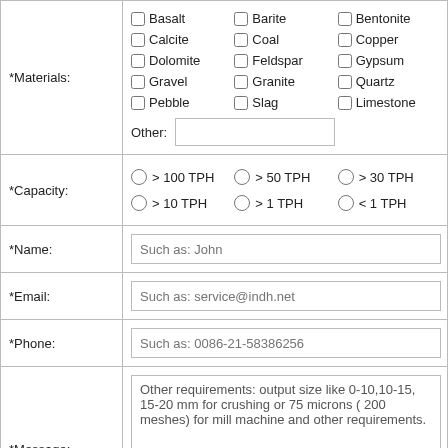| Field | Content |
| --- | --- |
| *Materials: | Basalt, Barite, Bentonite, Calcite, Coal, Copper, Dolomite, Feldspar, Gypsum, Gravel, Granite, Quartz, Pebble, Slag, Limestone, Other: [input] |
| *Capacity: | > 100 TPH, > 50 TPH, > 30 TPH, > 10 TPH, > 1 TPH, < 1 TPH |
| *Name: | Such as: John |
| *Email: | Such as: service@indh.net |
| *Phone: | Such as: 0086-21-58386256 |
| *Message: | Other requirements: output size like 0-10,10-15, 15-20 mm for crushing or 75 microns ( 200 meshes) for mill machine and other requirements. |